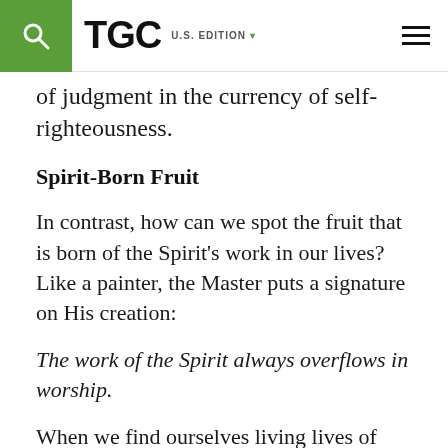TGC U.S. EDITION
of judgment in the currency of self-righteousness.
Spirit-Born Fruit
In contrast, how can we spot the fruit that is born of the Spirit's work in our lives? Like a painter, the Master puts a signature on His creation:
The work of the Spirit always overflows in worship.
When we find ourselves living lives of obedience, showing forth joy and patience